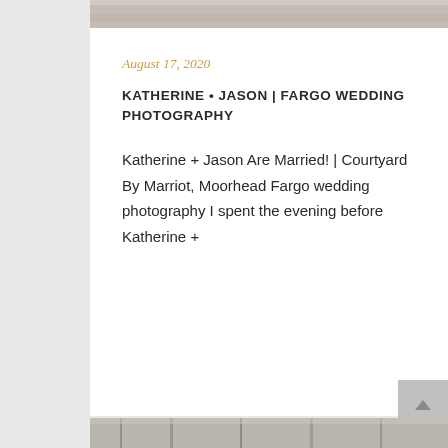[Figure (photo): Top portion of a wedding or outdoor photo, partially cropped at top of page]
August 17, 2020
KATHERINE • JASON | FARGO WEDDING PHOTOGRAPHY
Katherine + Jason Are Married! | Courtyard By Marriot, Moorhead Fargo wedding photography I spent the evening before Katherine +
[Figure (photo): Bottom portion showing outdoor winter scene with bare trees, partially cropped]